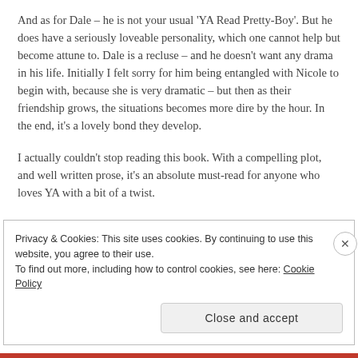And as for Dale – he is not your usual 'YA Read Pretty-Boy'. But he does have a seriously loveable personality, which one cannot help but become attune to. Dale is a recluse – and he doesn't want any drama in his life. Initially I felt sorry for him being entangled with Nicole to begin with, because she is very dramatic – but then as their friendship grows, the situations becomes more dire by the hour. In the end, it's a lovely bond they develop.
I actually couldn't stop reading this book. With a compelling plot, and well written prose, it's an absolute must-read for anyone who loves YA with a bit of a twist.
Privacy & Cookies: This site uses cookies. By continuing to use this website, you agree to their use.
To find out more, including how to control cookies, see here: Cookie Policy
Close and accept